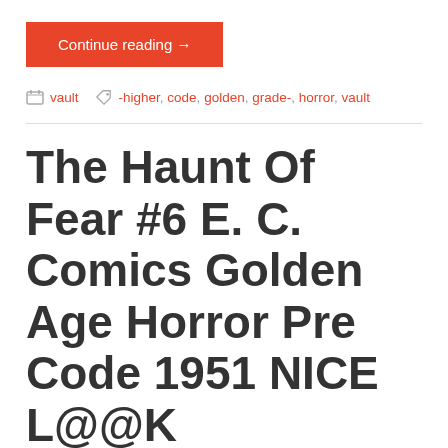Continue reading →
vault  -higher, code, golden, grade-, horror, vault
The Haunt Of Fear #6 E. C. Comics Golden Age Horror Pre Code 1951 NICE L@@K
April 26, 2019
[Figure (photo): Thumbnail image of The Haunt of Fear comic book cover with blue border]